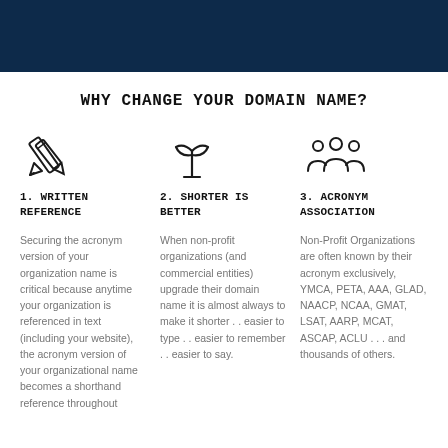WHY CHANGE YOUR DOMAIN NAME?
[Figure (illustration): Pencil icon]
1. WRITTEN REFERENCE
Securing the acronym version of your organization name is critical because anytime your organization is referenced in text (including your website), the acronym version of your organizational name becomes a shorthand reference throughout
[Figure (illustration): Sprout/plant icon]
2. SHORTER IS BETTER
When non-profit organizations (and commercial entities) upgrade their domain name it is almost always to make it shorter . . easier to type . . easier to remember . . easier to say.
[Figure (illustration): Group of people/community icon]
3. ACRONYM ASSOCIATION
Non-Profit Organizations are often known by their acronym exclusively, YMCA, PETA, AAA, GLAD, NAACP, NCAA, GMAT, LSAT, AARP, MCAT, ASCAP, ACLU . . . and thousands of others.